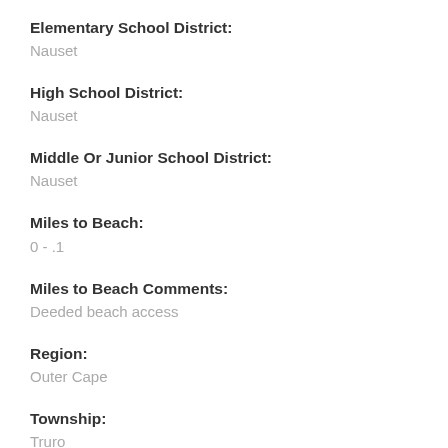Elementary School District:
Nauset
High School District:
Nauset
Middle Or Junior School District:
Nauset
Miles to Beach:
0 - .1
Miles to Beach Comments:
Deeded beach access
Region:
Outer Cape
Township:
Truro